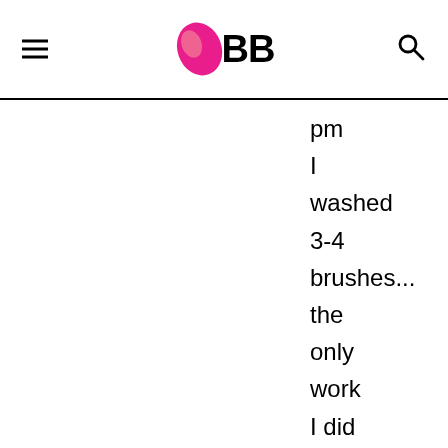IMBB navigation header with logo, hamburger menu, and search icon
pm
I washed 3-4 brushes... the only work I did today... and I spoke to Rati....but that second one